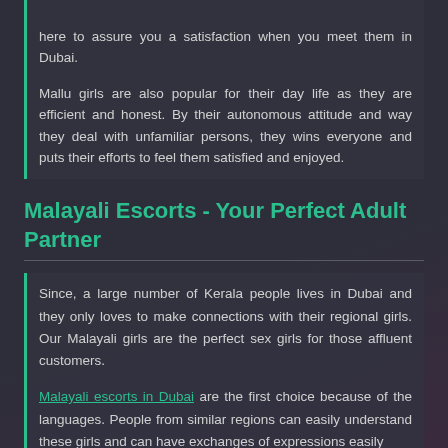here to assure you a satisfaction when you meet them in Dubai.
Mallu girls are also popular for their day life as they are efficient and honest. By their autonomous attitude and way they deal with unfamiliar persons, they wins everyone and puts their efforts to feel them satisfied and enjoyed.
Malayali Escorts - Your Perfect Adult Partner
Since, a large number of Kerala people lives in Dubai and they only loves to make connections with their regional girls. Our Malayali girls are the perfect sex girls for those affluent customers.
Malayali escorts in Dubai are the first choice because of the languages. People from similar regions can easily understand these girls and can have exchanges of expressions easily